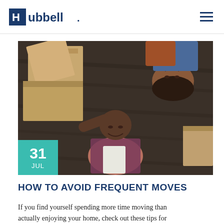Hubbell
[Figure (photo): Overhead view of a couple lying on a dark hardwood floor surrounded by moving boxes, smiling and laughing]
HOW TO AVOID FREQUENT MOVES
If you find yourself spending more time moving than actually enjoying your home, check out these tips for avoiding frequent moves.